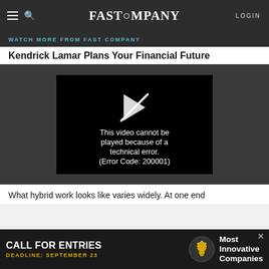FAST COMPANY  LOGIN
WATCH MORE FROM FAST COMPANY
Kendrick Lamar Plans Your Financial Future
[Figure (screenshot): Video player showing error: This video cannot be played because of a technical error. (Error Code: 200001)]
What hybrid work looks like varies widely. At one end
[Figure (other): Advertisement banner: CALL FOR ENTRIES - DEADLINE: SEPTEMBER 23 - Most Innovative Companies]